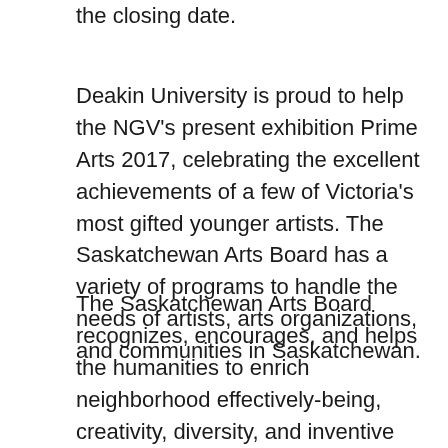the closing date.
Deakin University is proud to help the NGV's present exhibition Prime Arts 2017, celebrating the excellent achievements of a few of Victoria's most gifted younger artists. The Saskatchewan Arts Board has a variety of programs to handle the needs of artists, arts organizations, and communities in Saskatchewan.
The Saskatchewan Arts Board recognizes, encourages, and helps the humanities to enrich neighborhood effectively-being, creativity, diversity, and inventive prosperity. The SPOT ART 2014 involved artists who had limited worldwide arts ...